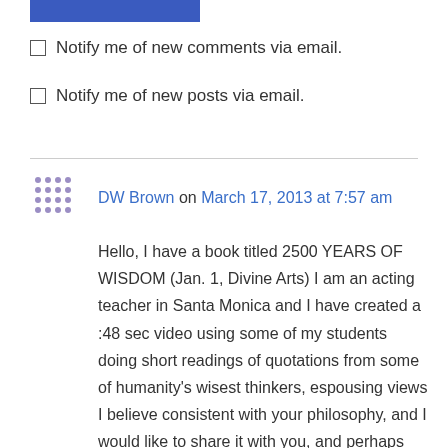[Figure (other): Blue button/bar at top of page]
Notify me of new comments via email.
Notify me of new posts via email.
DW Brown on March 17, 2013 at 7:57 am

Hello, I have a book titled 2500 YEARS OF WISDOM (Jan. 1, Divine Arts) I am an acting teacher in Santa Monica and I have created a :48 sec video using some of my students doing short readings of quotations from some of humanity's wisest thinkers, espousing views I believe consistent with your philosophy, and I would like to share it with you, and perhaps you, in turn, would share it. Peace, D.W. Brown